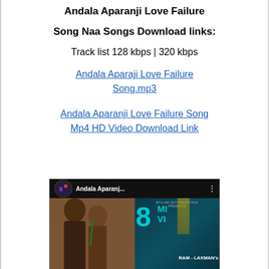Andala Aparanji Love Failure
Song Naa Songs Download links:
Track list 128 kbps | 320 kbps
Andala Aparaji Love Failure Song.mp3
Andala Aparanji Love Failure Song Mp4 HD Video Download Link
[Figure (screenshot): Video thumbnail showing Andala Aparanj... with a logo, two people, and 8 million views count in teal color with RAM - LAXMAN's text]